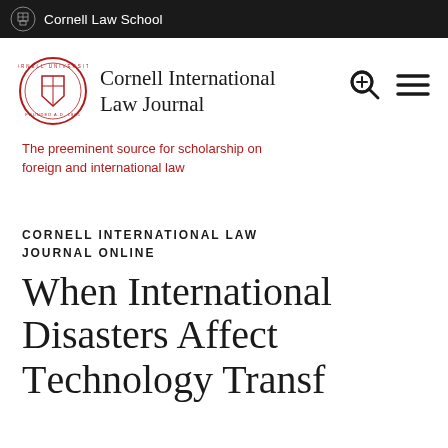Cornell Law School
[Figure (logo): Cornell International Law Journal logo with university seal]
The preeminent source for scholarship on foreign and international law
CORNELL INTERNATIONAL LAW JOURNAL ONLINE
When International Disasters Affect Technology Transfer